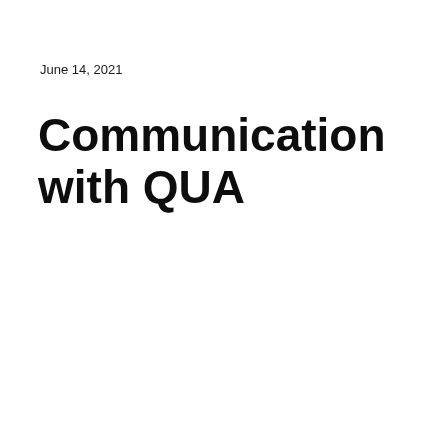June 14, 2021
Communication with QUA